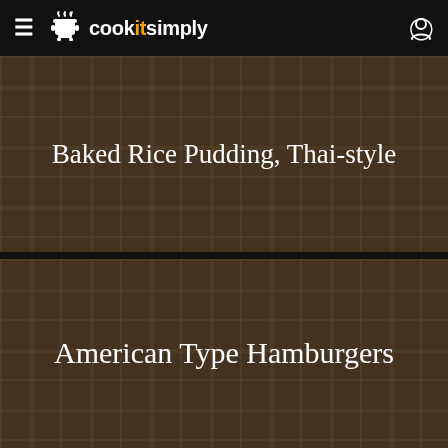cookitsimply
[Figure (photo): Plaid/tartan brown background card for recipe: Baked Rice Pudding, Thai-style]
Baked Rice Pudding, Thai-style
[Figure (photo): Plaid/tartan brown background card for recipe: American Type Hamburgers]
American Type Hamburgers